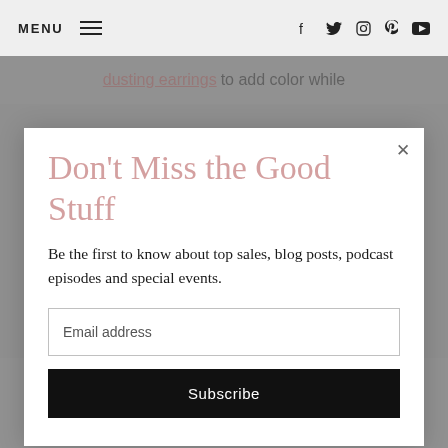MENU — social icons: f, Twitter, Instagram, Pinterest, YouTube
dusting earrings to add color while
Don't Miss the Good Stuff
Be the first to know about top sales, blog posts, podcast episodes and special events.
Email address
Subscribe
accessories from Sole Society in today's post!